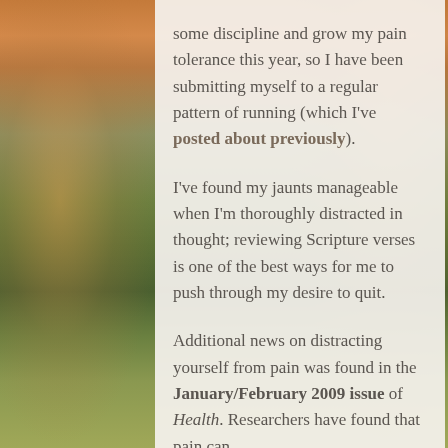some discipline and grow my pain tolerance this year, so I have been submitting myself to a regular pattern of running (which I've posted about previously).

I've found my jaunts manageable when I'm thoroughly distracted in thought; reviewing Scripture verses is one of the best ways for me to push through my desire to quit.

Additional news on distracting yourself from pain was found in the January/February 2009 issue of Health. Researchers have found that pain can